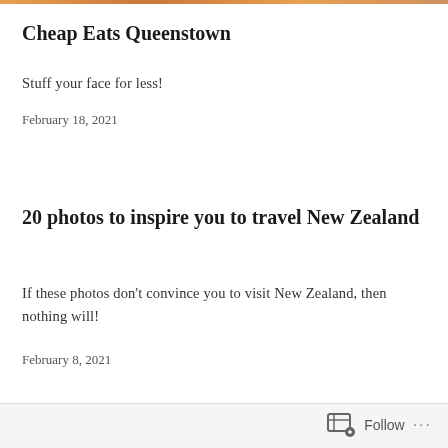Cheap Eats Queenstown
Stuff your face for less!
February 18, 2021
20 photos to inspire you to travel New Zealand
If these photos don't convince you to visit New Zealand, then nothing will!
February 8, 2021
Follow